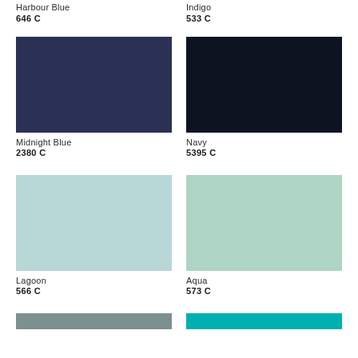Harbour Blue
646 C
Indigo
533 C
[Figure (illustration): Midnight Blue color swatch, a medium dark navy-blue rectangle]
Midnight Blue
2380 C
[Figure (illustration): Navy color swatch, a very dark near-black navy rectangle]
Navy
5395 C
[Figure (illustration): Lagoon color swatch, a light powder blue rectangle]
Lagoon
566 C
[Figure (illustration): Aqua color swatch, a pale mint-green rectangle]
Aqua
573 C